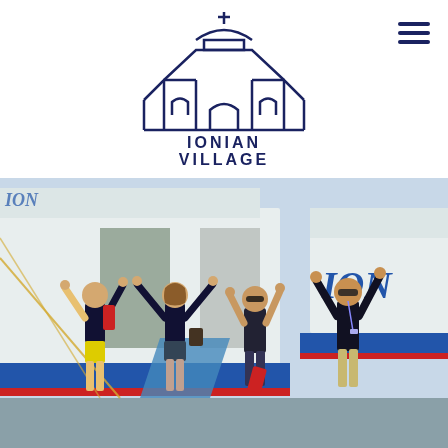[Figure (logo): Ionian Village logo: outlined Greek church/village building in dark navy blue with cross on top, text 'IONIAN VILLAGE' in navy blue serif capitals below]
[Figure (photo): Four young people (staff/counselors in black polo shirts with lanyards) celebrating with arms raised in front of a blue and white ferry boat with the text 'ION' visible. One person wears yellow shorts and a red backpack, another carries a messenger bag, one holds a red jacket. The dock setting is sunny.]